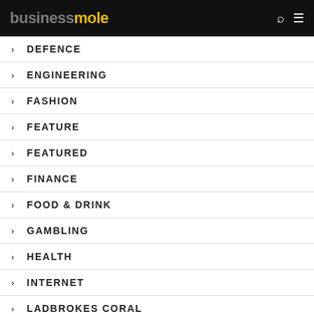businessmole
DEFENCE
ENGINEERING
FASHION
FEATURE
FEATURED
FINANCE
FOOD & DRINK
GAMBLING
HEALTH
INTERNET
LADBROKES CORAL
LATEST NEWS